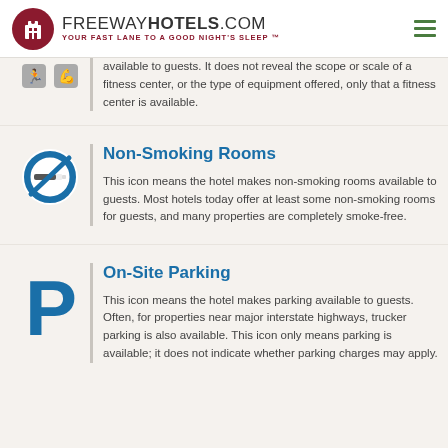FREEWAYHOTELS.COM — YOUR FAST LANE TO A GOOD NIGHT'S SLEEP ™
available to guests. It does not reveal the scope or scale of a fitness center, or the type of equipment offered, only that a fitness center is available.
Non-Smoking Rooms
This icon means the hotel makes non-smoking rooms available to guests. Most hotels today offer at least some non-smoking rooms for guests, and many properties are completely smoke-free.
On-Site Parking
This icon means the hotel makes parking available to guests. Often, for properties near major interstate highways, trucker parking is also available. This icon only means parking is available; it does not indicate whether parking charges may apply.